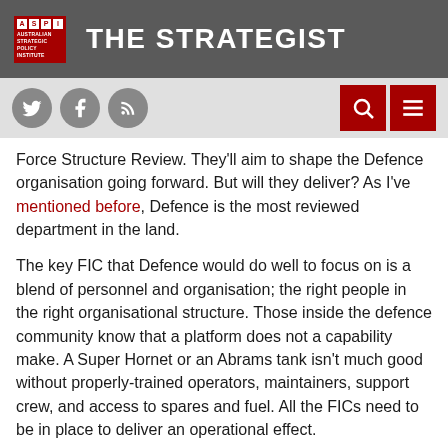THE STRATEGIST — Australian Strategic Policy Institute
Force Structure Review. They'll aim to shape the Defence organisation going forward. But will they deliver? As I've mentioned before, Defence is the most reviewed department in the land.
The key FIC that Defence would do well to focus on is a blend of personnel and organisation; the right people in the right organisational structure. Those inside the defence community know that a platform does not a capability make. A Super Hornet or an Abrams tank isn't much good without properly-trained operators, maintainers, support crew, and access to spares and fuel. All the FICs need to be in place to deliver an operational effect.
Having a senior leadership team, both in the public service and in uniform, that's hamstrung by process and definitions that